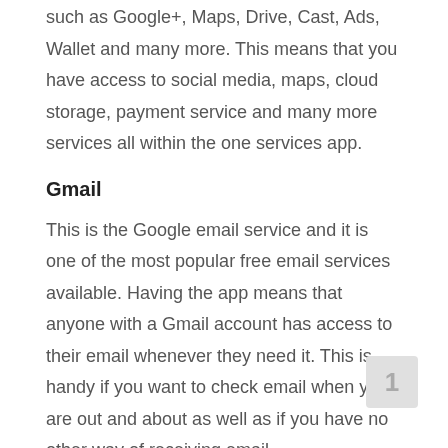such as Google+, Maps, Drive, Cast, Ads, Wallet and many more. This means that you have access to social media, maps, cloud storage, payment service and many more services all within the one services app.
Gmail
This is the Google email service and it is one of the most popular free email services available. Having the app means that anyone with a Gmail account has access to their email whenever they need it. This is handy if you want to check email when you are out and about as well as if you have no other way of receiving email.
Google Maps
Although part of the Google Play Services package,